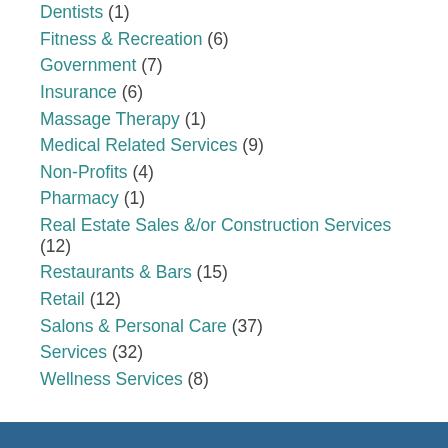Fitness & Recreation (6)
Government (7)
Insurance (6)
Massage Therapy (1)
Medical Related Services (9)
Non-Profits (4)
Pharmacy (1)
Real Estate Sales &/or Construction Services (12)
Restaurants & Bars (15)
Retail (12)
Salons & Personal Care (37)
Services (32)
Wellness Services (8)